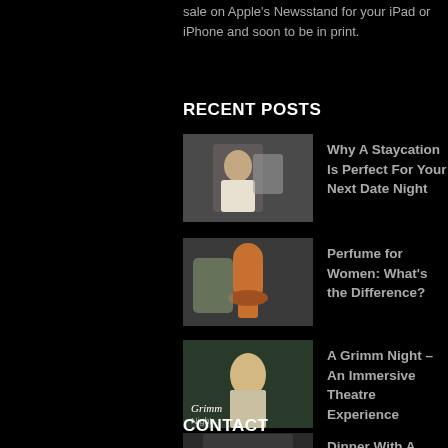sale on Apple's Newsstand for your iPad or iPhone and soon to be in print.
RECENT POSTS
Why A Staycation Is Perfect For Your Next Date Night
Perfume for Women: What's the Difference?
A Grimm Night – An Immersive Theatre Experience
Dinner With A Show: Farzi Café
CONTACT